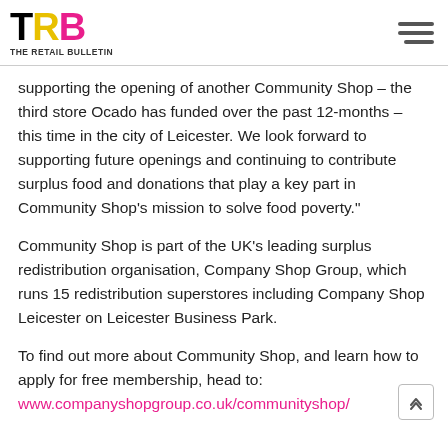THE RETAIL BULLETIN
supporting the opening of another Community Shop – the third store Ocado has funded over the past 12-months – this time in the city of Leicester. We look forward to supporting future openings and continuing to contribute surplus food and donations that play a key part in Community Shop’s mission to solve food poverty.”
Community Shop is part of the UK’s leading surplus redistribution organisation, Company Shop Group, which runs 15 redistribution superstores including Company Shop Leicester on Leicester Business Park.
To find out more about Community Shop, and learn how to apply for free membership, head to: www.companyshopgroup.co.uk/communityshop/